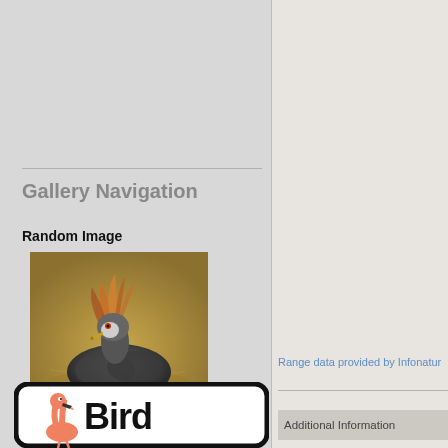Gallery Navigation
Random Image
[Figure (photo): A Hooded Merganser bird sitting on water, with reddish-brown crested head feathers, photographed in natural golden-toned water.]
Hooded Merganser
[Figure (logo): Bird logo: cartoon flamingo with rounded rectangle border and the word 'Bird' in large text]
Range data provided by Infonatur
Additional Information